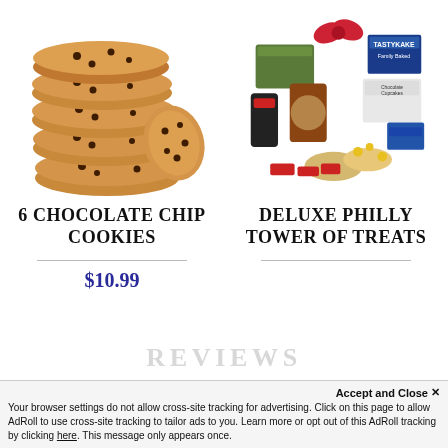[Figure (photo): Stack of chocolate chip cookies on white background]
[Figure (photo): Deluxe Philly gift basket with Tastykake products, pretzels, candies, and snacks]
6 CHOCOLATE CHIP COOKIES
DELUXE PHILLY TOWER OF TREATS
$10.99
REVIEWS
Accept and Close ✕
Your browser settings do not allow cross-site tracking for advertising. Click on this page to allow AdRoll to use cross-site tracking to tailor ads to you. Learn more or opt out of this AdRoll tracking by clicking here. This message only appears once.